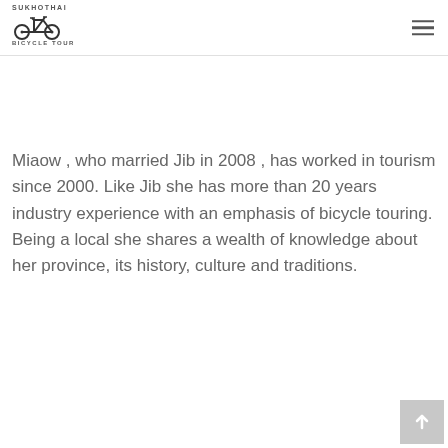SUKHOTHAI BICYCLE TOUR
Miaow , who married Jib in 2008 , has worked in tourism since 2000. Like Jib she has more than 20 years industry experience with an emphasis of bicycle touring. Being a local she shares a wealth of knowledge about her province, its history, culture and traditions.